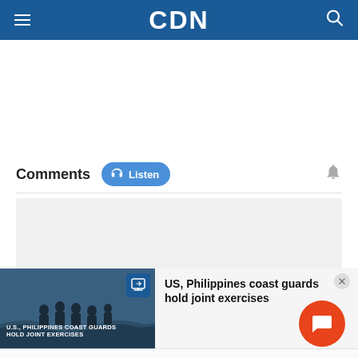CDN
Comments
Listen
[Figure (screenshot): Gray comment input area placeholder]
[Figure (photo): US, Philippines coast guards hold joint exercises — notification bar with photo of coast guard personnel on boat, blue badge overlay, and orange chat button]
US, Philippines coast guards hold joint exercises